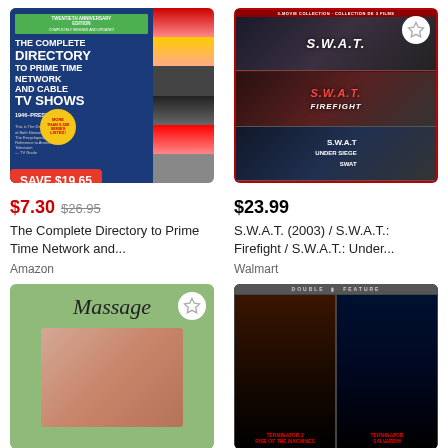[Figure (photo): Book cover: The Complete Directory to Prime Time Network and Cable TV Shows, Twentieth Anniversary Edition, with SAVE $19.65 badge]
$7.30  $26.95
The Complete Directory to Prime Time Network and...
Amazon
[Figure (photo): DVD cover: S.W.A.T. (2003) / S.W.A.T.: Firefight / S.W.A.T.: Under... 3-movie collection with wishlist star]
$23.99
S.W.A.T. (2003) / S.W.A.T.: Firefight / S.W.A.T.: Under...
Walmart
[Figure (photo): Book cover: Massage, green background with image, wishlist star]
[Figure (photo): DVD cover: Double Feature - Terminator 3: Rise of the Machines / Terminator: Salvation]